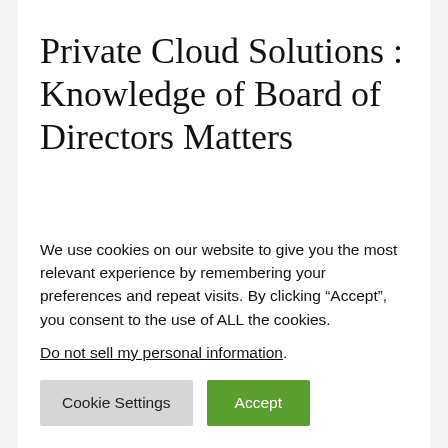Private Cloud Solutions : Knowledge of Board of Directors Matters
Many business points will arrive as a Private Company will require Board of Members unlike a farm or even a
We use cookies on our website to give you the most relevant experience by remembering your preferences and repeat visits. By clicking “Accept”, you consent to the use of ALL the cookies.
Do not sell my personal information.